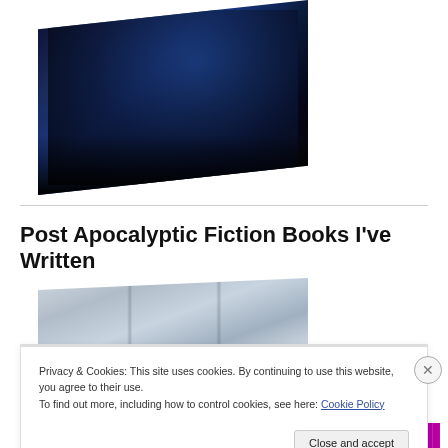[Figure (photo): 3D book cover with dark blue night scene showing mountains, displayed in perspective view]
Post Apocalyptic Fiction Books I’ve Written
[Figure (photo): 3D book cover showing white/grey sky scene displayed in perspective view with colorful decorative band at bottom]
Privacy & Cookies: This site uses cookies. By continuing to use this website, you agree to their use.
To find out more, including how to control cookies, see here: Cookie Policy
Close and accept